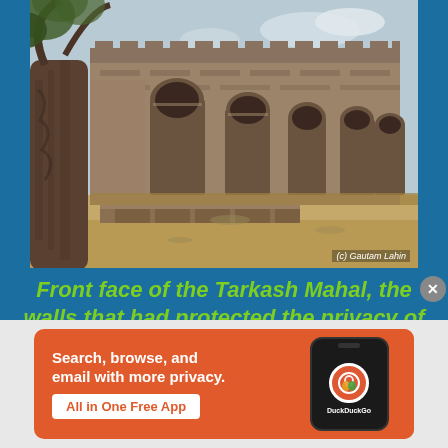[Figure (photo): Photograph of the front face of Tarkash Mahal, showing ancient stone walls with arched gateways, a large tree on the left, and sandy grounds. Photo credit: (c) Gautam Lahin]
Front face of the Tarkash Mahal, the walls that had protected the privacy of the Turkish wives now lay mute and still try to tell the history to the visitors with silence
[Figure (screenshot): DuckDuckGo advertisement banner: Search, browse, and email with more privacy. All in One Free App. Shows a phone mockup with DuckDuckGo logo.]